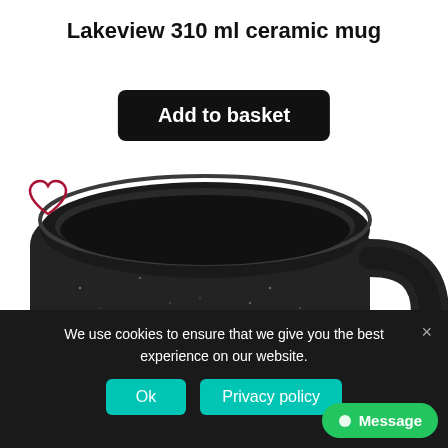Lakeview 310 ml ceramic mug
Add to basket
[Figure (photo): Close-up photo of a black speckled ceramic mug (Lakeview 310 ml) viewed from slightly above, showing the inside of the mug and the handle on the right side. The mug has a matte black finish with white speckles.]
We use cookies to ensure that we give you the best experience on our website.
Ok
Privacy policy
Message